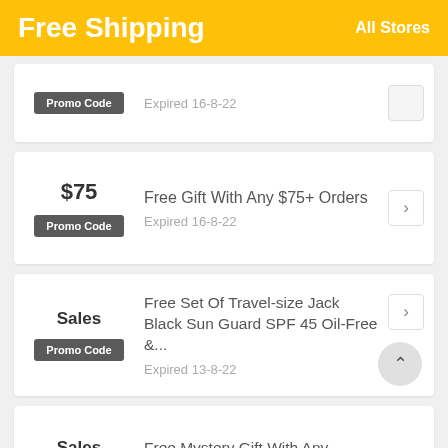Free Shipping
All Stores
Promo Code
Expired 16-8-22
$75
Promo Code
Free Gift With Any $75+ Orders
Expired 16-8-22
Sales
Promo Code
Free Set Of Travel-size Jack Black Sun Guard SPF 45 Oil-Free &...
Expired 13-8-22
Sales
Free Mystery Gift With Any